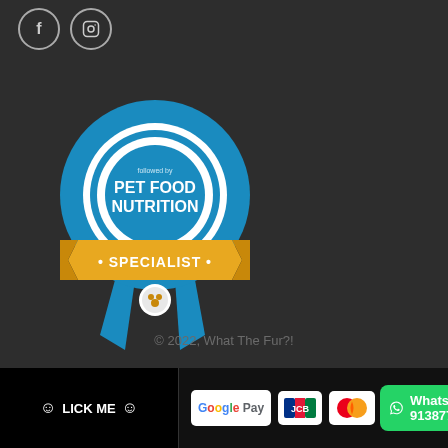[Figure (logo): Facebook and Instagram social media icons in circles]
[Figure (illustration): Blue ribbon award badge with 'PET FOOD NUTRITION SPECIALIST' text and gold banner, with small animal logo at bottom]
© 2022, What The Fur?!
[Figure (logo): Footer bar with LICK ME button, Google Pay, JCB, Mastercard payment icons and WhatsApp 91387742 button]